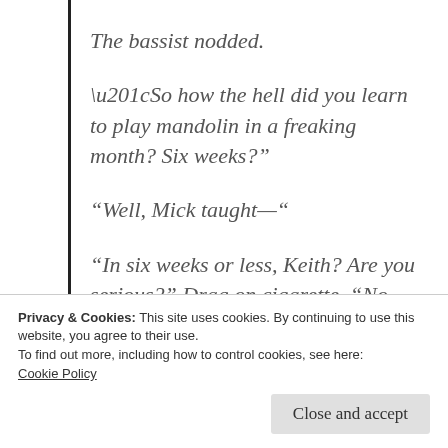The bassist nodded.
“So how the hell did you learn to play mandolin in a freaking month? Six weeks?”
“Well, Mick taught—“
“In six weeks or less, Keith? Are you serious?” Drag on cigarette. “No, Keith.
Privacy & Cookies: This site uses cookies. By continuing to use this website, you agree to their use.
To find out more, including how to control cookies, see here:
Cookie Policy